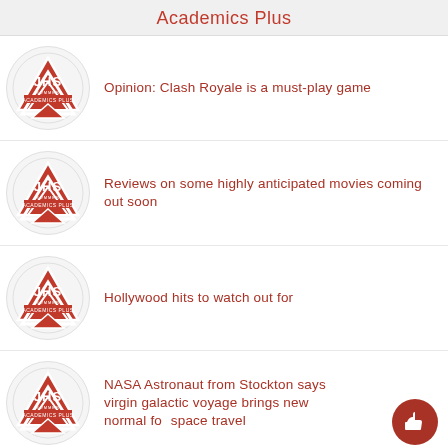Academics Plus
Opinion: Clash Royale is a must-play game
Reviews on some highly anticipated movies coming out soon
Hollywood hits to watch out for
NASA Astronaut from Stockton says virgin galactic voyage brings new normal for space travel